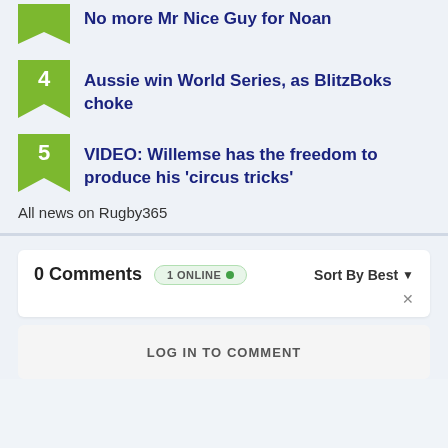No more Mr Nice Guy for Noan
4 Aussie win World Series, as BlitzBoks choke
5 VIDEO: Willemse has the freedom to produce his 'circus tricks'
All news on Rugby365
0 Comments  1 ONLINE  Sort By Best
LOG IN TO COMMENT